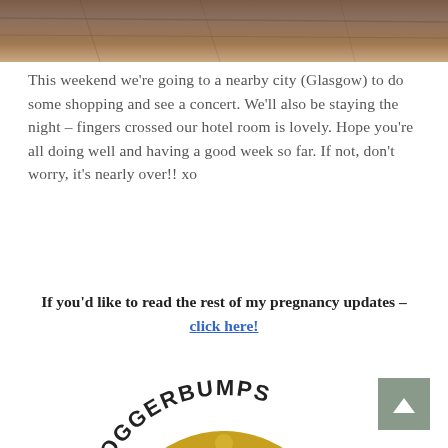[Figure (photo): Partial photo of a wooden surface or table top, cropped at the top of the page]
This weekend we're going to a nearby city (Glasgow) to do some shopping and see a concert. We'll also be staying the night – fingers crossed our hotel room is lovely. Hope you're all doing well and having a good week so far. If not, don't worry, it's nearly over!! xo
If you'd like to read the rest of my pregnancy updates – click here!
[Figure (logo): #BLOGGERBUMPS logo – an oval golden mirror frame with a silhouette of a pregnant woman in navy and white striped clothing, with the hashtag text #BLOGGERBUMPS arched above]